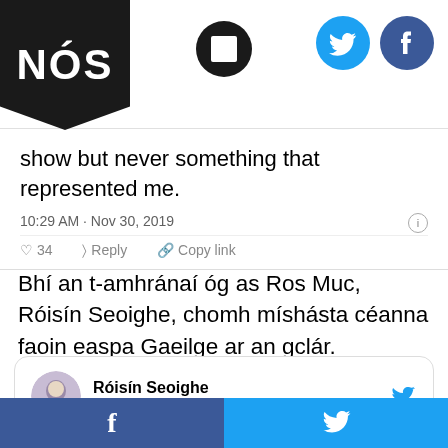NÓS
show but never something that represented me.
10:29 AM · Nov 30, 2019
34   Reply   Copy link
Bhí an t-amhránaí óg as Ros Muc, Róisín Seoighe, chomh míshásta céanna faoin easpa Gaeilge ar an gclár.
Róisín Seoighe @RoisinSeoighe · Follow @RTELateLateShow #latelatetoyshow
f   (twitter bird)